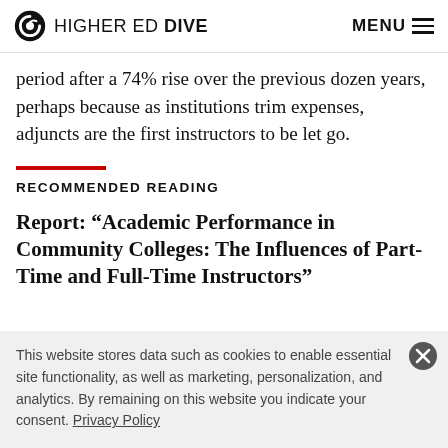HIGHER ED DIVE  MENU
period after a 74% rise over the previous dozen years, perhaps because as institutions trim expenses, adjuncts are the first instructors to be let go.
RECOMMENDED READING
Report: “Academic Performance in Community Colleges: The Influences of Part-Time and Full-Time Instructors”
This website stores data such as cookies to enable essential site functionality, as well as marketing, personalization, and analytics. By remaining on this website you indicate your consent. Privacy Policy